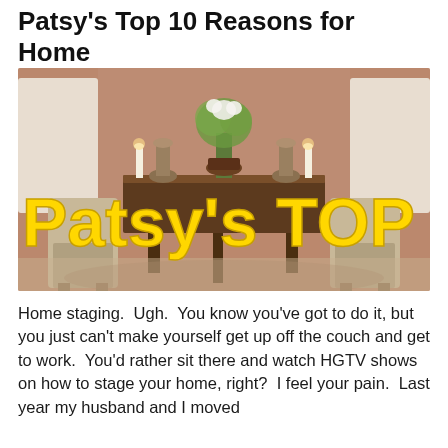Patsy's Top 10 Reasons for Home Staging
[Figure (photo): Dining room interior with ornate wooden table, upholstered chairs, candles, flower arrangement, and decorative urns. Large yellow bold text overlay reads "Patsy's TOP 10".]
Home staging.  Ugh.  You know you've got to do it, but you just can't make yourself get up off the couch and get to work.  You'd rather sit there and watch HGTV shows on how to stage your home, right?  I feel your pain.  Last year my husband and I moved